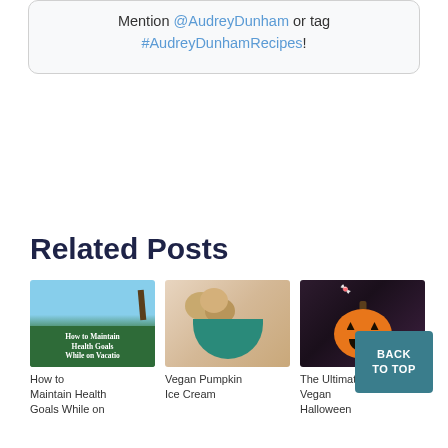Mention @AudreyDunham or tag #AudreyDunhamRecipes!
Related Posts
[Figure (photo): Photo of a green sign reading 'How to Maintain Health Goals While on Vacation' with palm trees and blue sky]
How to Maintain Health Goals While on
[Figure (photo): Photo of vegan pumpkin ice cream scoops in a teal bowl]
Vegan Pumpkin Ice Cream
[Figure (photo): Photo of a jack-o-lantern pumpkin with candy on top for Halloween]
The Ultimate Vegan Halloween